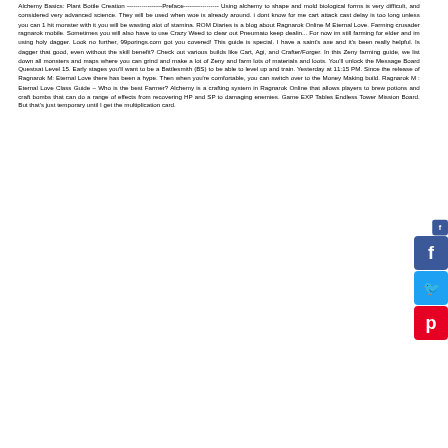Alchemy Basics: Plant Bottle Creation -----------------Preface----------------- Using alchemy to shape and mold biological forms is very difficult, and considered very advanced science. They will be used when woe is already around. i dont know for me cart attack cast delay is too long unless you can 1 hit monster with it you will be wasting alot of stamina. ROM Diaries is a blog about Ragnarok Online M Eternal Love. Farming crusader ragnarok mobile. Sometimes you will also have to use Crazy Weed to clear out Pneumato keep dealin... For now im still farming for elder and im using holy dagger. Look no further, 99porings.com got you covered! This guide is special. I have a saint's axe and it's been really helpful. Is dagger that good, even without the skill benefit? Check out various builds like Cart, Agi, and Crafter/Forger. In this Zeny farming guide, we list down all monsters and maps where you can grind and make a lot of Zeny and farm lots of materials and loots. You'll unlock the Message Board Questsat Level 15. Early stages you'll want to be a Battlesmith (BS) to be able to level up and train. Yesterday at 11:15 PM. Since the release of Ragnarok M: Eternal Love there has been a hype. Then when you're comfortable, you can switch over to the Money Making build. Ragnarok M : Eternal Love Class Guide – Who is the best Farmer? Alchemy is a crafting system in Ragnarok Online that allows players to brew potions and craft bombs that can do a range of effects from recovering HP and SP to damaging enemies. Game EXP Tables Endless Tower Mission Board. But that's just temporary until I get the multiplication card.